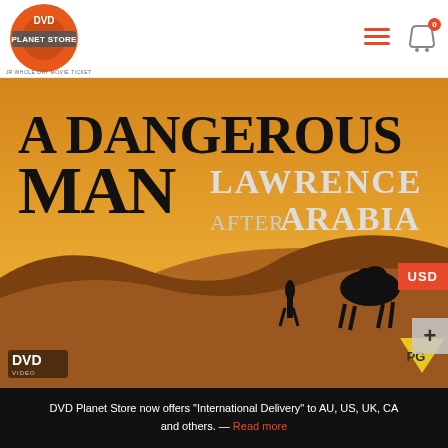[Figure (logo): DVD Planet Store logo — orange circular disc with DVD text and planet/store branding, tagline 'YOUR WHOLE DAY MOVIE TICKET']
[Figure (photo): DVD cover of 'A Dangerous Man: Lawrence After Arabia' showing desert landscape with silhouetted figures and a camel, large bold title text, DVD logo bottom-left, PG rating triangle bottom-right]
[Figure (photo): Thumbnail strip of another DVD product partially visible]
DVD Planet Store now offers "International Delivery" to AU, US, UK, CA and others. — Read more